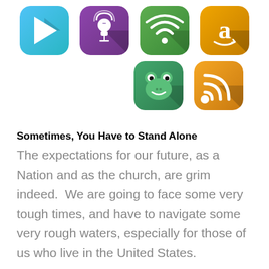[Figure (illustration): Row of app icons: Google Play (cyan), Podcast app (purple), Spotify/WiFi (green), Amazon (orange)]
[Figure (illustration): Row of app icons: Frog/podcast app (green), RSS feed (orange)]
Sometimes, You Have to Stand Alone
The expectations for our future, as a Nation and as the church, are grim indeed.  We are going to face some very tough times, and have to navigate some very rough waters, especially for those of us who live in the United States.